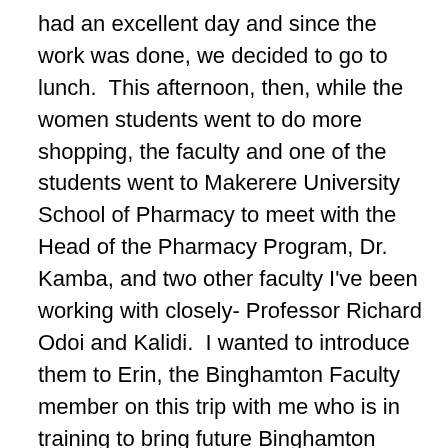had an excellent day and since the work was done, we decided to go to lunch.  This afternoon, then, while the women students went to do more shopping, the faculty and one of the students went to Makerere University School of Pharmacy to meet with the Head of the Pharmacy Program, Dr. Kamba, and two other faculty I've been working with closely- Professor Richard Odoi and Kalidi.  I wanted to introduce them to Erin, the Binghamton Faculty member on this trip with me who is in training to bring future Binghamton pharmacy students. We are also accompanied on this trip by 2 faculty from East Tennessee State University (ETSU) who are looking for opportunities to develop a Global Health project in Uganda.  It was a great meeting. We were able to consider options for possible collaborative research and also learn more about the beginnings of the pharmacy school here which was